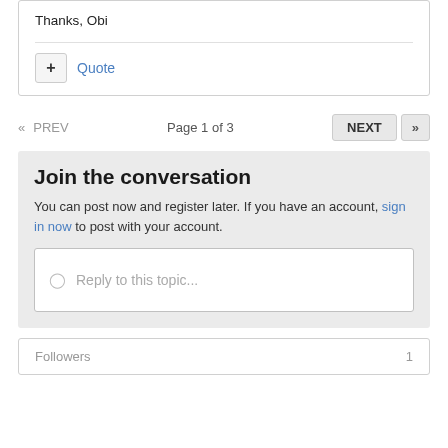Thanks, Obi
Quote
Page 1 of 3
NEXT
Join the conversation
You can post now and register later. If you have an account, sign in now to post with your account.
Reply to this topic...
Followers 1